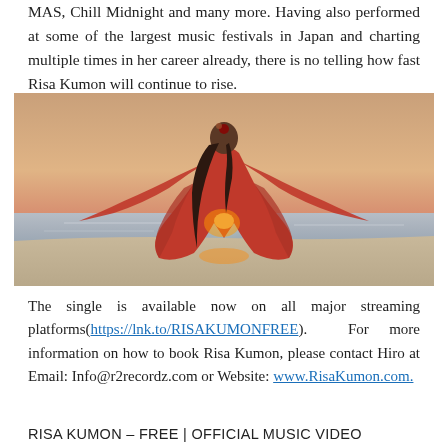MAS, Chill Midnight and many more. Having also performed at some of the largest music festivals in Japan and charting multiple times in her career already, there is no telling how fast Risa Kumon will continue to rise.
[Figure (photo): Woman in red flowing garments standing on a beach at sunset with arms outstretched, back to camera, long black hair]
The single is available now on all major streaming platforms(https://lnk.to/RISAKUMONFREE). For more information on how to book Risa Kumon, please contact Hiro at Email: Info@r2recordz.com or Website: www.RisaKumon.com.
RISA KUMON – FREE | OFFICIAL MUSIC VIDEO